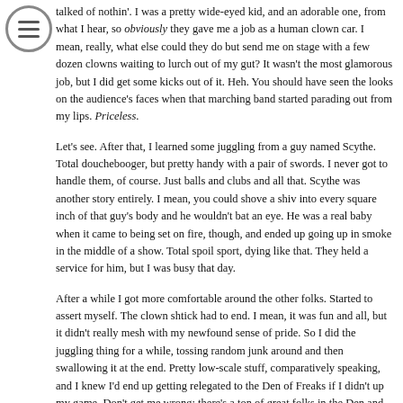[Figure (other): Circular menu icon with three horizontal lines (hamburger menu button)]
talked of nothin'. I was a pretty wide-eyed kid, and an adorable one, from what I hear, so obviously they gave me a job as a human clown car. I mean, really, what else could they do but send me on stage with a few dozen clowns waiting to lurch out of my gut? It wasn't the most glamorous job, but I did get some kicks out of it. Heh. You should have seen the looks on the audience's faces when that marching band started parading out from my lips. Priceless.
Let's see. After that, I learned some juggling from a guy named Scythe. Total douchebooger, but pretty handy with a pair of swords. I never got to handle them, of course. Just balls and clubs and all that. Scythe was another story entirely. I mean, you could shove a shiv into every square inch of that guy's body and he wouldn't bat an eye. He was a real baby when it came to being set on fire, though, and ended up going up in smoke in the middle of a show. Total spoil sport, dying like that. They held a service for him, but I was busy that day.
After a while I got more comfortable around the other folks. Started to assert myself. The clown shtick had to end. I mean, it was fun and all, but it didn't really mesh with my newfound sense of pride. So I did the juggling thing for a while, tossing random junk around and then swallowing it at the end. Pretty low-scale stuff, comparatively speaking, and I knew I'd end up getting relegated to the Den of Freaks if I didn't up my game. Don't get me wrong: there's a ton of great folks in the Den and it's not a bad place, but it's not the big time, you know?
So when I got to be a horny teenager, I thought, "why not devour a woman whole?" At first, everyone thought it'd just be a step down from the clown thing, but then I came up with the idea to put a plant in the